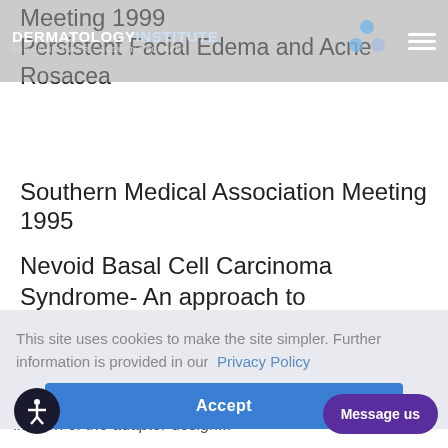DERMATOLOGY INSTITUTE FOR SKIN CANCER + COSMETIC SURGERY
Meeting 1999
Persistent Facial Edema and Acne Rosacea
Southern Medical Association Meeting 1995
Nevoid Basal Cell Carcinoma Syndrome- An approach to management Southern Medical Association Meeting 1994
This site uses cookies to make the site simpler. Further information is provided in our Privacy Policy
Accept
Message us